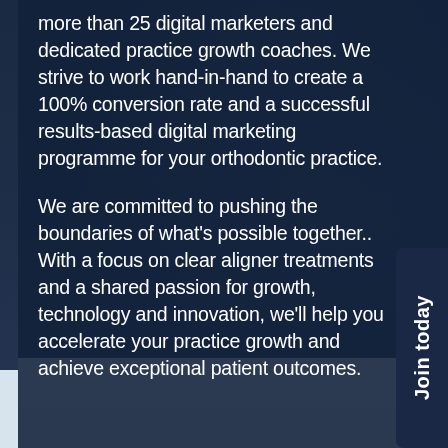more than 25 digital marketers and dedicated practice growth coaches. We strive to work hand-in-hand to create a 100% conversion rate and a successful results-based digital marketing programme for your orthodontic practice.
We are committed to pushing the boundaries of what's possible together.. With a focus on clear aligner treatments and a shared passion for growth, technology and innovation, we'll help you accelerate your practice growth and achieve exceptional patient outcomes.
Join today